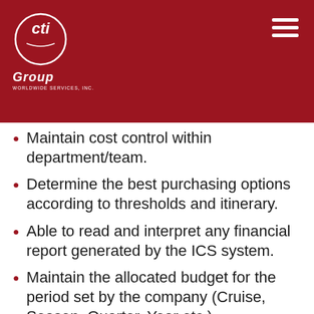[Figure (logo): CTI Group Worldwide Services Inc. logo — white circular emblem with stylized 'cti' lettering, 'Group' text below in white, 'WORLDWIDE SERVICES, INC.' in small white caps beneath]
Maintain cost control within department/team.
Determine the best purchasing options according to thresholds and itinerary.
Able to read and interpret any financial report generated by the ICS system.
Maintain the allocated budget for the period set by the company (Cruise, Season, Quarter, Year etc.).
Control overtime and apply TAR procedures accordingly (work within the set budget priorities).